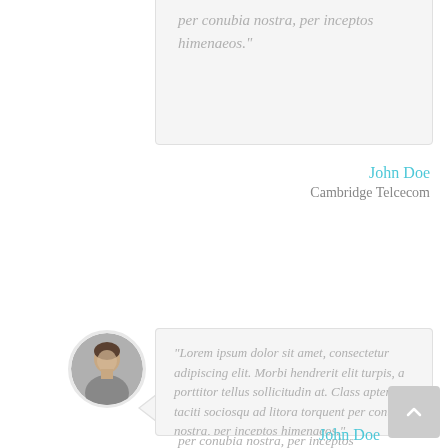per conubia nostra, per inceptos himenaeos."
John Doe
Cambridge Telcecom
[Figure (photo): Circular avatar photo of a man]
"Lorem ipsum dolor sit amet, consectetur adipiscing elit. Morbi hendrerit elit turpis, a porttitor tellus sollicitudin at. Class aptent taciti sociosqu ad litora torquent per conubia nostra, per inceptos himenaeos."
John Doe